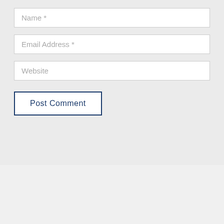Name *
Email Address *
Website
Post Comment
[Figure (screenshot): Partial view of a badge/seal for 'Centre for Investigative Journalism' overlaid on a grassy green background image, with a 'TOP' back-to-top button in the bottom right corner.]